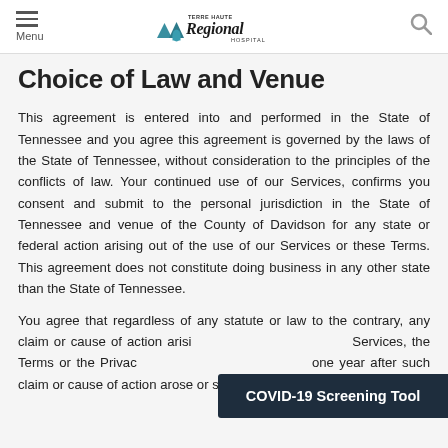Menu | Terre Haute Regional Hospital | Search
Choice of Law and Venue
This agreement is entered into and performed in the State of Tennessee and you agree this agreement is governed by the laws of the State of Tennessee, without consideration to the principles of the conflicts of law. Your continued use of our Services, confirms you consent and submit to the personal jurisdiction in the State of Tennessee and venue of the County of Davidson for any state or federal action arising out of the use of our Services or these Terms. This agreement does not constitute doing business in any other state than the State of Tennessee.
You agree that regardless of any statute or law to the contrary, any claim or cause of action arising out of or related to the Services, the Terms or the Privacy Policy must be filed within one year after such claim or cause of action arose or such claim
COVID-19 Screening Tool